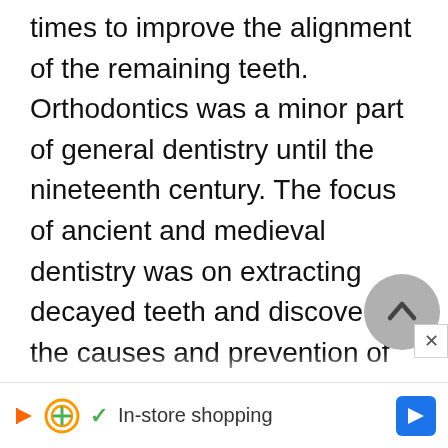times to improve the alignment of the remaining teeth. Orthodontics was a minor part of general dentistry until the nineteenth century. The focus of ancient and medieval dentistry was on extracting decayed teeth and discovering the causes and prevention of decay. The first detailed analysis of orthodontic technique was given in The Surgeon Dentist, published in 1728 by Frenchman Pierre Fauchard (1690-1761). The volume devoted an entire...